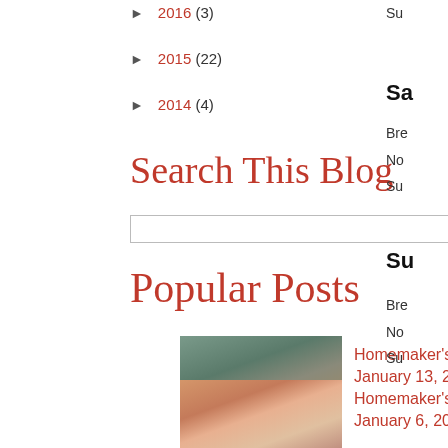► 2016 (3)
► 2015 (22)
► 2014 (4)
Search This Blog
Popular Posts
Homemaker's Journal: Monday, January 13, 2020
Homemaker's Journal: Monday, January 6, 2020
Sa
Bre
No
Su
Su
Bre
No
Su